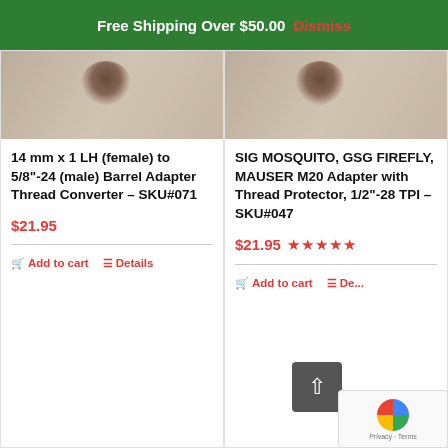Free Shipping Over $50.00  Dismiss
[Figure (photo): Product photo for 14mm barrel adapter, showing metal hardware piece on wood surface]
14 mm x 1 LH (female) to 5/8"-24 (male) Barrel Adapter Thread Converter – SKU#071
$21.95
Add to cart   Details
[Figure (photo): Product photo for SIG Mosquito barrel adapter, showing metal hardware piece on wood surface]
SIG MOSQUITO, GSG FIREFLY, MAUSER M20 Adapter with Thread Protector, 1/2"-28 TPI – SKU#047
$21.95  ★★★★★
Add to cart   De...